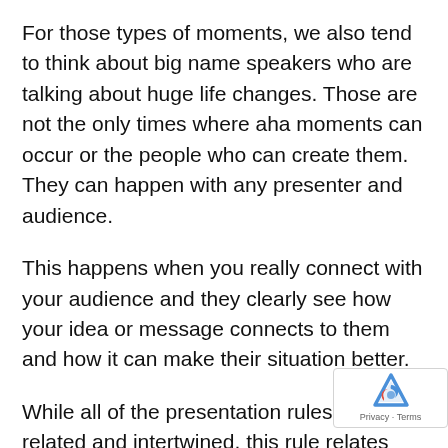For those types of moments, we also tend to think about big name speakers who are talking about huge life changes. Those are not the only times where aha moments can occur or the people who can create them. They can happen with any presenter and audience.
This happens when you really connect with your audience and they clearly see how your idea or message connects to them and how it can make their situation better.
While all of the presentation rules are related and intertwined, this rule relates closely to Rule 3. If you know your audience, you can create memorable, aha moments.
This is because you know and understand their pain points, interests, and more...